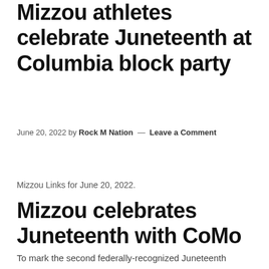Mizzou athletes celebrate Juneteenth at Columbia block party
June 20, 2022 by Rock M Nation — Leave a Comment
Mizzou Links for June 20, 2022.
Mizzou celebrates Juneteenth with CoMo
To mark the second federally-recognized Juneteenth holiday, Mizzou (which will be closed today to mark the